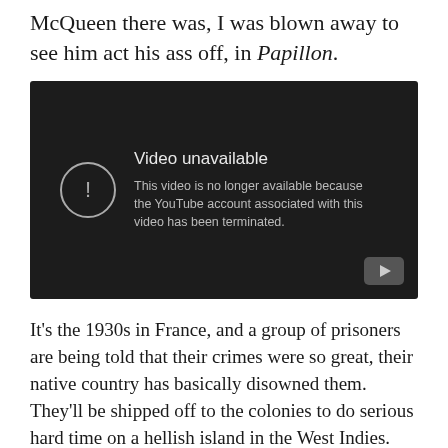McQueen there was, I was blown away to see him act his ass off, in Papillon.
[Figure (screenshot): Embedded YouTube video player showing 'Video unavailable' message. Text reads: 'This video is no longer available because the YouTube account associated with this video has been terminated.']
It's the 1930s in France, and a group of prisoners are being told that their crimes were so great, their native country has basically disowned them. They'll be shipped off to the colonies to do serious hard time on a hellish island in the West Indies. Wrongly convicted of killing a pimp, Papillon (McQueeen) is one of those prisoners. On the ocean